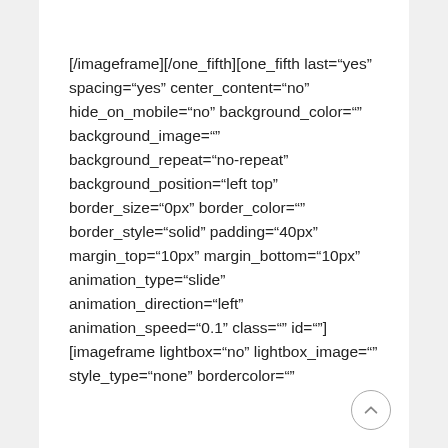[/imageframe][/one_fifth][one_fifth last="yes" spacing="yes" center_content="no" hide_on_mobile="no" background_color="" background_image="" background_repeat="no-repeat" background_position="left top" border_size="0px" border_color="" border_style="solid" padding="40px" margin_top="10px" margin_bottom="10px" animation_type="slide" animation_direction="left" animation_speed="0.1" class="" id=""] [imageframe lightbox="no" lightbox_image="" style_type="none" bordercolor=""